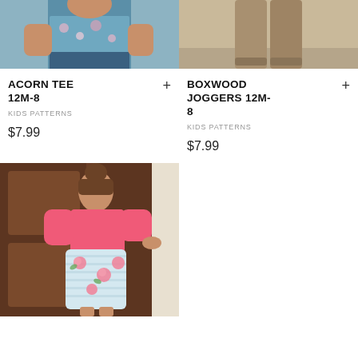[Figure (photo): Top portion of child wearing floral top and jeans outdoors]
ACORN TEE 12M-8
KIDS PATTERNS
$7.99
[Figure (photo): Top portion of child wearing khaki pants outdoors]
BOXWOOD JOGGERS 12M-8
KIDS PATTERNS
$7.99
[Figure (photo): Young girl wearing a pink and floral dress standing by a wooden door]